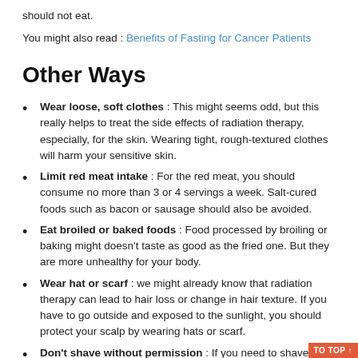should not eat.
You might also read : Benefits of Fasting for Cancer Patients
Other Ways
Wear loose, soft clothes : This might seems odd, but this really helps to treat the side effects of radiation therapy, especially, for the skin. Wearing tight, rough-textured clothes will harm your sensitive skin.
Limit red meat intake : For the red meat, you should consume no more than 3 or 4 servings a week. Salt-cured foods such as bacon or sausage should also be avoided.
Eat broiled or baked foods : Food processed by broiling or baking might doesn't taste as good as the fried one. But they are more unhealthy for your body.
Wear hat or scarf : we might already know that radiation therapy can lead to hair loss or change in hair texture. If you have to go outside and exposed to the sunlight, you should protect your scalp by wearing hats or scarf.
Don't shave without permission : If you need to shave, especially around the treated area, you should consult with